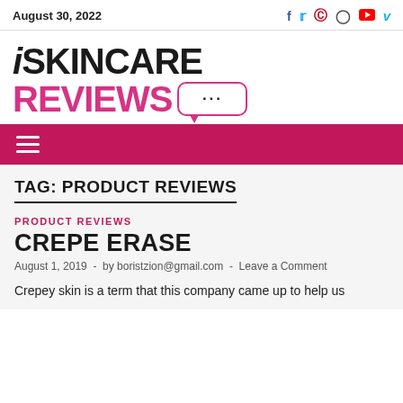August 30, 2022
[Figure (logo): iSKINCARE REVIEWS logo with speech bubble containing three dots]
[Figure (other): Pink navigation bar with hamburger menu icon]
TAG: PRODUCT REVIEWS
PRODUCT REVIEWS
CREPE ERASE
August 1, 2019  -  by boristzion@gmail.com  -  Leave a Comment
Crepey skin is a term that this company came up to help us